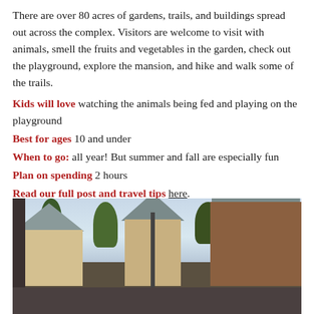There are over 80 acres of gardens, trails, and buildings spread out across the complex. Visitors are welcome to visit with animals, smell the fruits and vegetables in the garden, check out the playground, explore the mansion, and hike and walk some of the trails.
Kids will love watching the animals being fed and playing on the playground
Best for ages 10 and under
When to go: all year! But summer and fall are especially fun
Plan on spending 2 hours
Read our full post and travel tips here.
[Figure (photo): Exterior photo of a complex with multiple buildings including a wooden/log cabin-style structure on the right, lighter buildings in the center and left, trees, and a cloudy sky. A vertical pole or chimney is visible in the center.]